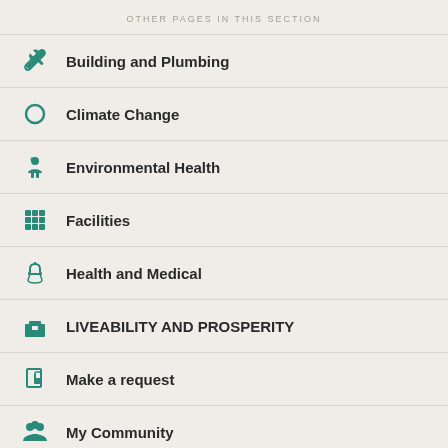OTHER PAGES IN THIS SECTION
Building and Plumbing
Climate Change
Environmental Health
Facilities
Health and Medical
LIVEABILITY AND PROSPERITY
Make a request
My Community
> 2022/2023 Community Grant Program
> Age Well